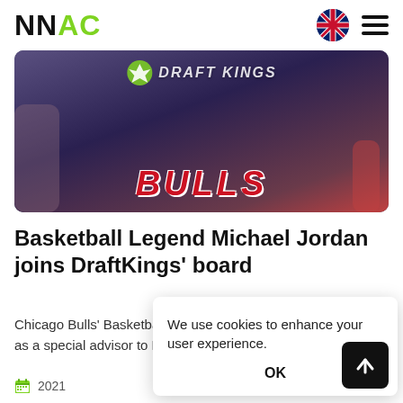NNAC
[Figure (photo): Chicago Bulls basketball player wearing a dark jersey with 'BULLS' in large red letters, DraftKings logo visible at top of image]
Basketball Legend Michael Jordan joins DraftKings' board
Chicago Bulls' Basketball superstar Michael Jordan will serve as a special advisor to DraftKings… strategic advice…
2021
We use cookies to enhance your user experience.
OK